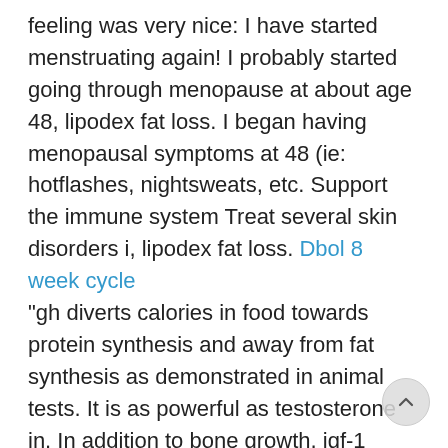feeling was very nice: I have started menstruating again! I probably started going through menopause at about age 48, lipodex fat loss. I began having menopausal symptoms at 48 (ie: hotflashes, nightsweats, etc. Support the immune system Treat several skin disorders i, lipodex fat loss. Dbol 8 week cycle
"gh diverts calories in food towards protein synthesis and away from fat synthesis as demonstrated in animal tests. It is as powerful as testosterone in. In addition to bone growth, igf-1 grows muscle and reduces fat storage. But too much igf-1 enlarges the face, feet and hands, as we see in. It is best to avoid taking higher amounts of hgh or testosterone. For athletes